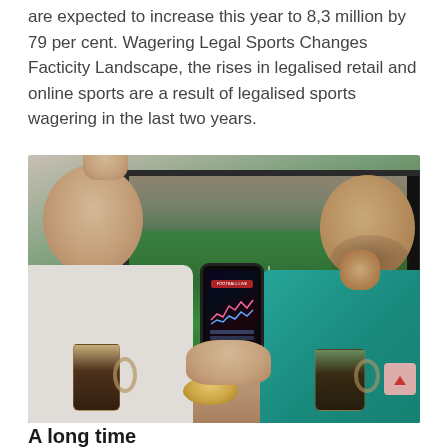are expected to increase this year to 8,3 million by 79 per cent. Wagering Legal Sports Changes Facticity Landscape, the rises in legalised retail and online sports are a result of legalised sports wagering in the last two years.
[Figure (photo): Two men watching a football match on a large TV screen. The man on the left has his fist raised in celebration. The man on the right, wearing a teal shirt, watches attentively. A person in the center holds a smartphone showing a sports betting app with charts and data. Beer mugs and snacks are on the table in front of them.]
A long time